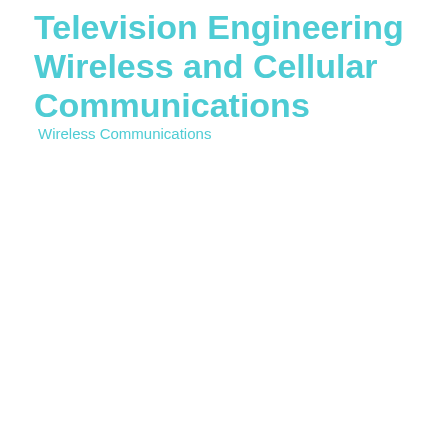Television Engineering Wireless and Cellular Communications Wireless Communications